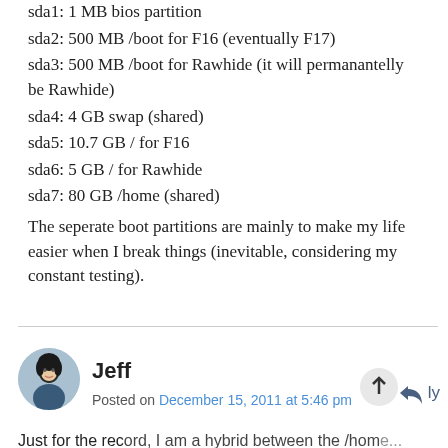sda1: 1 MB bios partition
sda2: 500 MB /boot for F16 (eventually F17)
sda3: 500 MB /boot for Rawhide (it will permanantelly be Rawhide)
sda4: 4 GB swap (shared)
sda5: 10.7 GB / for F16
sda6: 5 GB / for Rawhide
sda7: 80 GB /home (shared)
The seperate boot partitions are mainly to make my life easier when I break things (inevitable, considering my constant testing).
Jeff
Posted on December 15, 2011 at 5:46 pm
Just for the record, I am a hybrid between the /home...